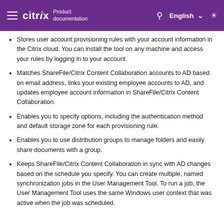citrix Product documentation | English
Stores user account provisioning rules with your account information in the Citrix cloud. You can install the tool on any machine and access your rules by logging in to your account.
Matches ShareFile/Citrix Content Collaboration accounts to AD based on email address, links your existing employee accounts to AD, and updates employee account information in ShareFile/Citrix Content Collaboration.
Enables you to specify options, including the authentication method and default storage zone for each provisioning rule.
Enables you to use distribution groups to manage folders and easily share documents with a group.
Keeps ShareFile/Citrix Content Collaboration in sync with AD changes based on the schedule you specify. You can create multiple, named synchronization jobs in the User Management Tool. To run a job, the User Management Tool uses the same Windows user context that was active when the job was scheduled.